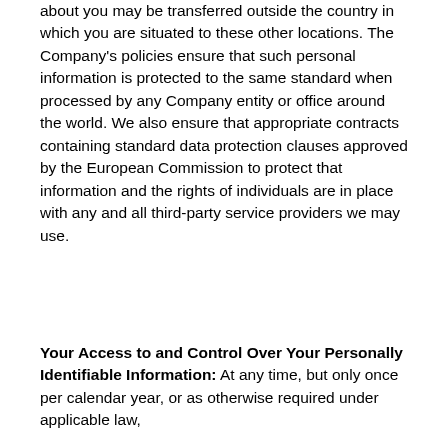about you may be transferred outside the country in which you are situated to these other locations. The Company's policies ensure that such personal information is protected to the same standard when processed by any Company entity or office around the world. We also ensure that appropriate contracts containing standard data protection clauses approved by the European Commission to protect that information and the rights of individuals are in place with any and all third-party service providers we may use.
Your Access to and Control Over Your Personally Identifiable Information: At any time, but only once per calendar year, or as otherwise required under applicable law,